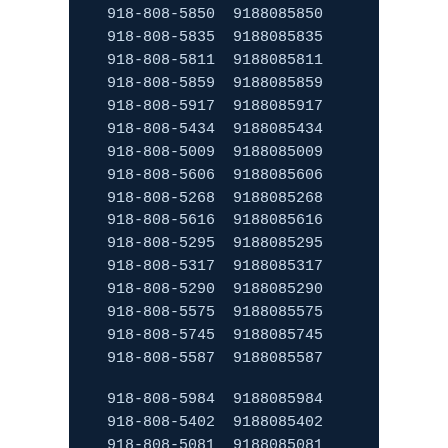| Formatted | Raw |
| --- | --- |
| 918-808-5850 | 9188085850 |
| 918-808-5835 | 9188085835 |
| 918-808-5811 | 9188085811 |
| 918-808-5859 | 9188085859 |
| 918-808-5917 | 9188085917 |
| 918-808-5434 | 9188085434 |
| 918-808-5009 | 9188085009 |
| 918-808-5606 | 9188085606 |
| 918-808-5268 | 9188085268 |
| 918-808-5616 | 9188085616 |
| 918-808-5295 | 9188085295 |
| 918-808-5317 | 9188085317 |
| 918-808-5290 | 9188085290 |
| 918-808-5575 | 9188085575 |
| 918-808-5745 | 9188085745 |
| 918-808-5587 | 9188085587 |
| 918-808-5984 | 9188085984 |
| 918-808-5402 | 9188085402 |
| 918-808-5081 | 9188085081 |
| 918-808-5960 | 9188085960 |
| 918-808-5664 | 9188085664 |
| 918-808-5704 | 9188085704 |
| 918-808-5966 | 9188085966 |
| 918-808-5713 | 9188085713 |